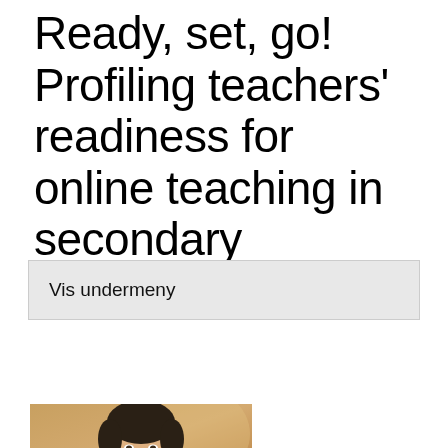Ready, set, go! Profiling teachers' readiness for online teaching in secondary education.
Vis undermeny
Her kan du lese abstract (engelsk).
[Figure (photo): Portrait photo of a person (man) with dark hair, cropped at top of page showing head and shoulders against a warm/golden background.]